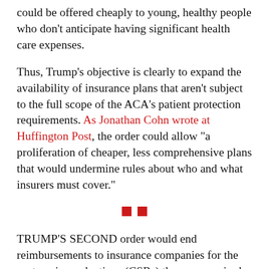could be offered cheaply to young, healthy people who don't anticipate having significant health care expenses.
Thus, Trump's objective is clearly to expand the availability of insurance plans that aren't subject to the full scope of the ACA's patient protection requirements. As Jonathan Cohn wrote at Huffington Post, the order could allow "a proliferation of cheaper, less comprehensive plans that would undermine rules about who and what insurers must cover."
[Figure (other): Two small red squares used as a section divider]
TRUMP'S SECOND order would end reimbursements to insurance companies for the cost-saving reductions (CSRs) they are required by law to make for low-income policyholders. These payments are estimated to total $7 billion in 2017.
Trump and Republicans have also continued...